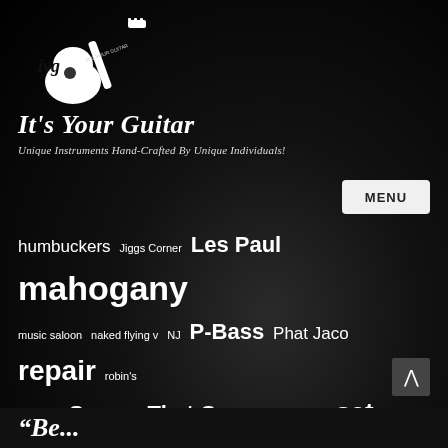[Figure (logo): It's Your Guitar logo: white guitar body with 'iyg It's Your Guitar' text on dark background]
It's Your Guitar
Unique Instruments Hand-Crafted By Unique Individuals!
MENU
humbuckers Jiggs Corner Les Paul mahogany music saloon naked flying v NJ P-Bass Phat Jaco repair robin's egg blue Scares That Care seaside axe set neck silent auction string-through studio tele tele build Telecaster the horror show with brian keene tung oil Vintage work in progress workshop